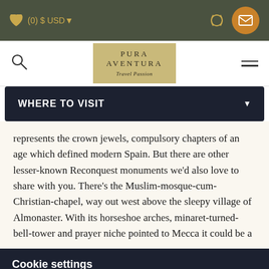(0) $ USD
[Figure (logo): Pura Aventura Travel Passion logo on golden background]
WHERE TO VISIT
represents the crown jewels, compulsory chapters of an age which defined modern Spain. But there are other lesser-known Reconquest monuments we'd also love to share with you. There's the Muslim-mosque-cum-Christian-chapel, way out west above the sleepy village of Almonaster. With its horseshoe arches, minaret-turned-bell-tower and prayer niche pointed to Mecca it could be a
Cookie settings
We use cookies to enrich your experience of this site, for example showing maps or storing your favourite trips. We don't use them to store personal information, but if you prefer not to allow them, we won't take it personally.
OK    Show details and manage cookies